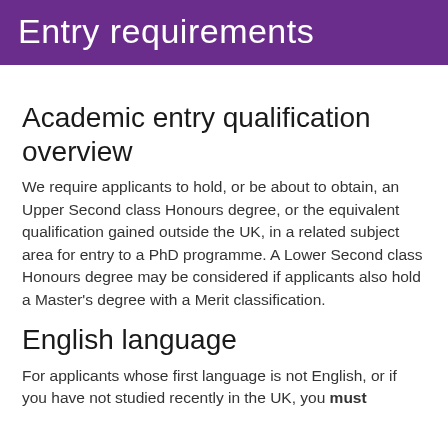Entry requirements
Academic entry qualification overview
We require applicants to hold, or be about to obtain, an Upper Second class Honours degree, or the equivalent qualification gained outside the UK, in a related subject area for entry to a PhD programme. A Lower Second class Honours degree may be considered if applicants also hold a Master's degree with a Merit classification.
English language
For applicants whose first language is not English, or if you have not studied recently in the UK, you must